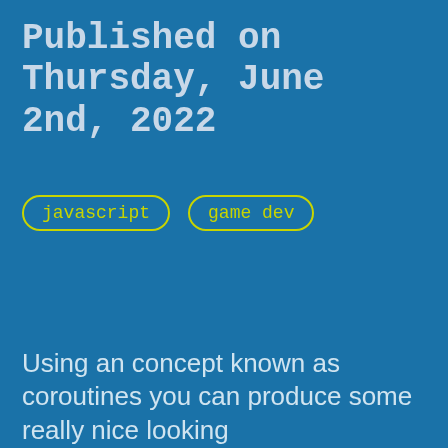Published on Thursday, June 2nd, 2022
javascript
game dev
Using an concept known as coroutines you can produce some really nice looking